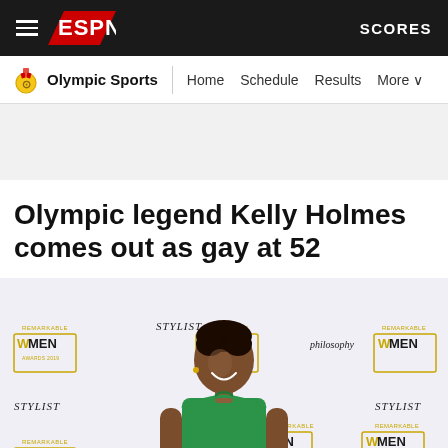ESPN - Olympic Sports
Olympic legend Kelly Holmes comes out as gay at 52
[Figure (photo): Kelly Holmes smiling at the Remarkable Women Awards 2019 event, wearing a green halter dress, standing in front of a step-and-repeat banner showing Remarkable Women Awards 2019, STYLIST, and philosophy logos]